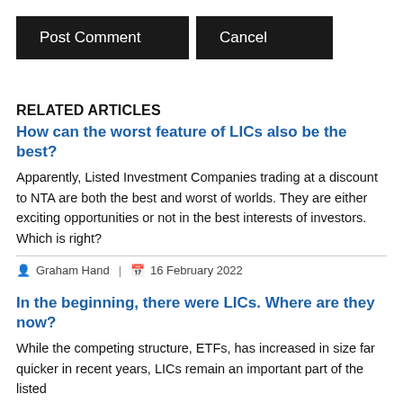Post Comment | Cancel
RELATED ARTICLES
How can the worst feature of LICs also be the best?
Apparently, Listed Investment Companies trading at a discount to NTA are both the best and worst of worlds. They are either exciting opportunities or not in the best interests of investors. Which is right?
Graham Hand | 16 February 2022
In the beginning, there were LICs. Where are they now?
While the competing structure, ETFs, has increased in size far quicker in recent years, LICs remain an important part of the listed